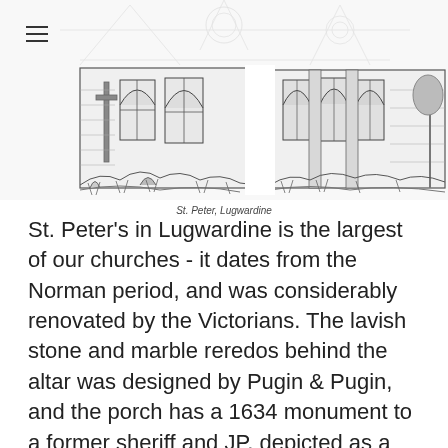[Figure (illustration): Black and white line drawing of St. Peter's church in Lugwardine, showing the exterior with Gothic arched windows, stone walls, a cross monument, and surrounding vegetation. The image shows two sections of the church facade.]
St. Peter, Lugwardine
St. Peter's in Lugwardine is the largest of our churches - it dates from the Norman period, and was considerably renovated by the Victorians. The lavish stone and marble reredos behind the altar was designed by Pugin & Pugin, and the porch has a 1634 monument to a former sheriff and JP, depicted as a friendly, reclining cavalier. We